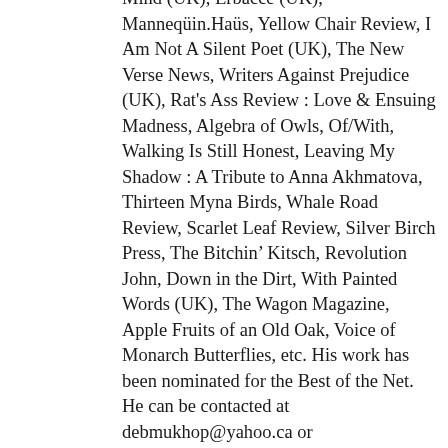Mind (UK), Erbacce (UK), Manneqüin.Haüs, Yellow Chair Review, I Am Not A Silent Poet (UK), The New Verse News, Writers Against Prejudice (UK), Rat's Ass Review : Love & Ensuing Madness, Algebra of Owls, Of/With, Walking Is Still Honest, Leaving My Shadow : A Tribute to Anna Akhmatova, Thirteen Myna Birds, Whale Road Review, Scarlet Leaf Review, Silver Birch Press, The Bitchin' Kitsch, Revolution John, Down in the Dirt, With Painted Words (UK), The Wagon Magazine, Apple Fruits of an Old Oak, Voice of Monarch Butterflies, etc. His work has been nominated for the Best of the Net. He can be contacted at debmukhop@yahoo.ca or